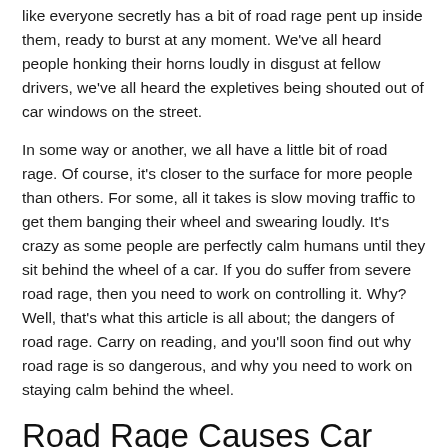like everyone secretly has a bit of road rage pent up inside them, ready to burst at any moment. We've all heard people honking their horns loudly in disgust at fellow drivers, we've all heard the expletives being shouted out of car windows on the street.
In some way or another, we all have a little bit of road rage. Of course, it's closer to the surface for more people than others. For some, all it takes is slow moving traffic to get them banging their wheel and swearing loudly. It's crazy as some people are perfectly calm humans until they sit behind the wheel of a car. If you do suffer from severe road rage, then you need to work on controlling it. Why? Well, that's what this article is all about; the dangers of road rage. Carry on reading, and you'll soon find out why road rage is so dangerous, and why you need to work on staying calm behind the wheel.
Road Rage Causes Car Accidents
Arguably, the most obvious reason we need to minimize that it...